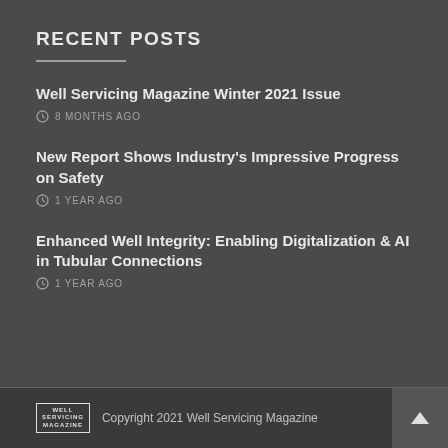RECENT POSTS
Well Servicing Magazine Winter 2021 Issue
8 MONTHS AGO
New Report Shows Industry's Impressive Progress on Safety
1 YEAR AGO
Enhanced Well Integrity: Enabling Digitalization & AI in Tubular Connections
1 YEAR AGO
Copyright 2021 Well Servicing Magazine